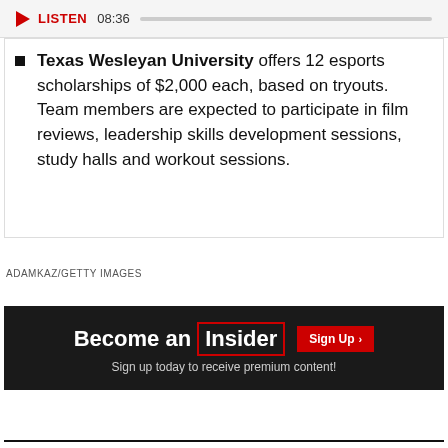LISTEN 08:36
Texas Wesleyan University offers 12 esports scholarships of $2,000 each, based on tryouts. Team members are expected to participate in film reviews, leadership skills development sessions, study halls and workout sessions.
ADAMKAZ/GETTY IMAGES
[Figure (other): Become an Insider promotional banner with Sign Up button and text: Sign up today to receive premium content!]